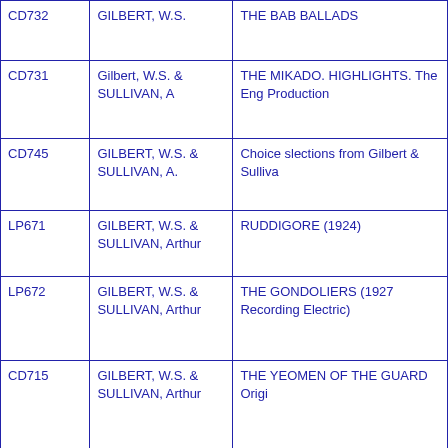| ID | Author | Title |
| --- | --- | --- |
| CD732 | GILBERT, W.S. | THE BAB BALLADS |
| CD731 | Gilbert, W.S. &
SULLIVAN, A | THE MIKADO. HIGHLIGHTS. The Eng Production |
| CD745 | GILBERT, W.S. &
SULLIVAN, A. | Choice slections from Gilbert & Sulliva |
| LP671 | GILBERT, W.S. &
SULLIVAN, Arthur | RUDDIGORE (1924) |
| LP672 | GILBERT, W.S. &
SULLIVAN, Arthur | THE GONDOLIERS (1927 Recording Electric) |
| CD715 | GILBERT, W.S. &
SULLIVAN, Arthur | THE YEOMEN OF THE GUARD Origi |